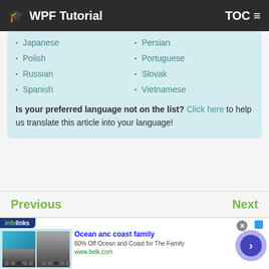WPF Tutorial  TOC
Japanese
Persian
Polish
Portuguese
Russian
Slovak
Spanish
Vietnamese
Is your preferred language not on the list? Click here to help us translate this article into your language!
Previous
Next
[Figure (screenshot): Infolinks advertisement banner for Ocean anc coast family - 60% Off Ocean and Coast for The Family, www.belk.com]